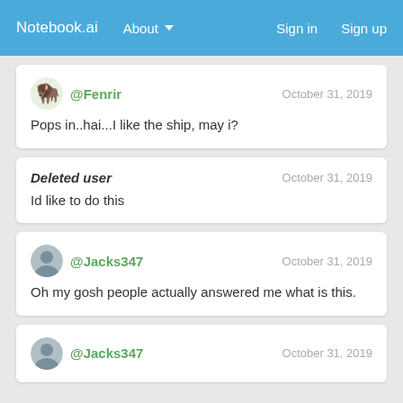Notebook.ai  About  Sign in  Sign up
@Fenrir — October 31, 2019 — Pops in..hai...I like the ship, may i?
Deleted user — October 31, 2019 — Id like to do this
@Jacks347 — October 31, 2019 — Oh my gosh people actually answered me what is this.
@Jacks347 — October 31, 2019